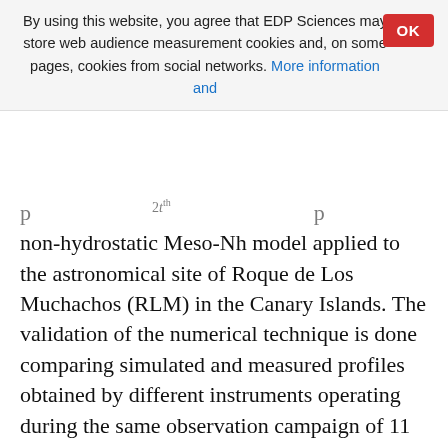By using this website, you agree that EDP Sciences may store web audience measurement cookies and, on some pages, cookies from social networks. More information and
non-hydrostatic Meso-Nh model applied to the astronomical site of Roque de Los Muchachos (RLM) in the Canary Islands. The validation of the numerical technique is done comparing simulated and measured profiles obtained by different instruments operating during the same observation campaign of 11 nights. The results of this study show, for each night, a good average estimation of the OT obtained with Meso-Nh, compared to the dispersion of measurements from the different instruments. For the first time, the contribution to the optical turbulence of the radiation of the ground was studied. Quantitative estimations are given of the ability of the model to simulate the temperature near the ground around the telescope. Moreover, a set of 3D